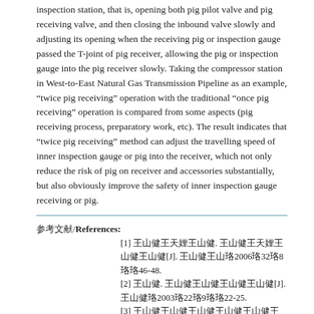inspection station, that is, opening both pig pilot valve and pig receiving valve, and then closing the inbound valve slowly and adjusting its opening when the receiving pig or inspection gauge passed the T-joint of pig receiver, allowing the pig or inspection gauge into the pig receiver slowly. Taking the compressor station in West-to-East Natural Gas Transmission Pipeline as an example, “twice pig receiving” operation with the traditional “once pig receiving” operation is compared from some aspects (pig receiving process, preparatory work, etc). The result indicates that “twice pig receiving” method can adjust the travelling speed of inner inspection gauge or pig into the receiver, which not only reduce the risk of pig on receiver and accessories substantially, but also obviously improve the safety of inner inspection gauge receiving or pig.
参考文献/References:
[1] 王山健王天娌王山健. 王山健王天娌王山健王山健[J]. 王山健王山珞2006珞32珞8珞珞46-48.
[2] 王山健. 王山健王山健王山健王山健[J]. 王山健珞2003珞22珞9珞珞22-25.
[3] 王山健王山健王山健王山健王山健王山健王山健王山健王山健[J]. 王山健珞2003珞4珞珞31-35.
[4] 王健. 王山健王山健王山[J]. 王山健珞1997珞9珞珞21-24.
参考文献/References:
[1]王山健,王山健,王山健,健.王山健王山健王山健王山健王山健[J].王山健,2011,30(05):347.[doi:10.6047/j.issn.1000-8241.2011.05.007]
Teng Yanping,Cai Peipei,Xu Chengwei,et al.Applying synchronous monitoring method to locate interference sources of stray current in pipeline[J].Oil & Gas Storage and Transportation,2011,30(3):347.[doi:10.6047/j.issn.1000-